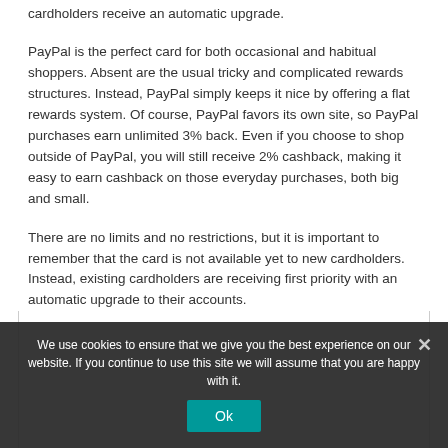cardholders receive an automatic upgrade.
PayPal is the perfect card for both occasional and habitual shoppers. Absent are the usual tricky and complicated rewards structures. Instead, PayPal simply keeps it nice by offering a flat rewards system. Of course, PayPal favors its own site, so PayPal purchases earn unlimited 3% back. Even if you choose to shop outside of PayPal, you will still receive 2% cashback, making it easy to earn cashback on those everyday purchases, both big and small.
There are no limits and no restrictions, but it is important to remember that the card is not available yet to new cardholders. Instead, existing cardholders are receiving first priority with an automatic upgrade to their accounts.
We use cookies to ensure that we give you the best experience on our website. If you continue to use this site we will assume that you are happy with it.